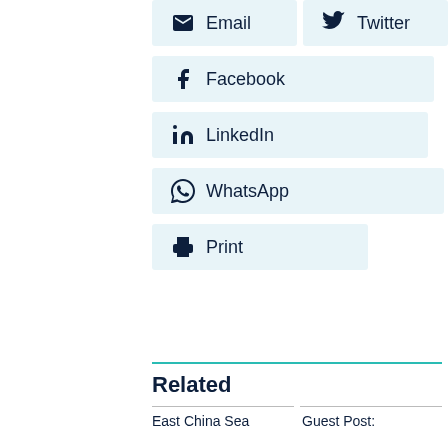Email
Twitter
Facebook
LinkedIn
WhatsApp
Print
Related
East China Sea
Guest Post: